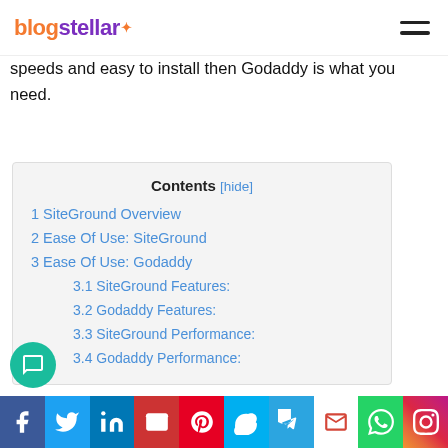blogstellar [hamburger menu]
speeds and easy to install then Godaddy is what you need.
| Contents [hide] |
| --- |
| 1 SiteGround Overview |
| 2 Ease Of Use: SiteGround |
| 3 Ease Of Use: Godaddy |
| 3.1 SiteGround Features: |
| 3.2 Godaddy Features: |
| 3.3 SiteGround Performance: |
| 3.4 Godaddy Performance: |
Social share bar: Facebook, Twitter, LinkedIn, Email, Pinterest, Skype, Telegram, Gmail, WhatsApp, Instagram